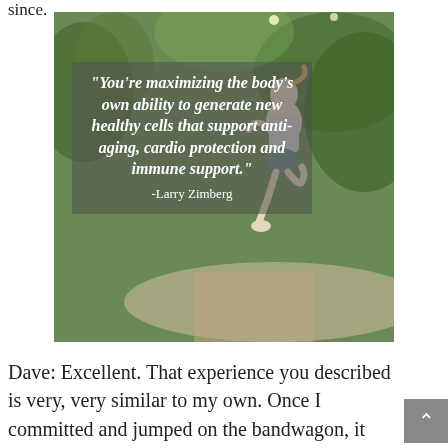since.
[Figure (photo): Woman running/jogging outdoors with a motivational quote overlay in a semi-transparent box reading: "You're maximizing the body's own ability to generate new healthy cells that support anti-aging, cardio protection and immune support." -Larry Zimberg]
Dave: Excellent. That experience you described is very, very similar to my own. Once I committed and jumped on the bandwagon, it was nothing but good for